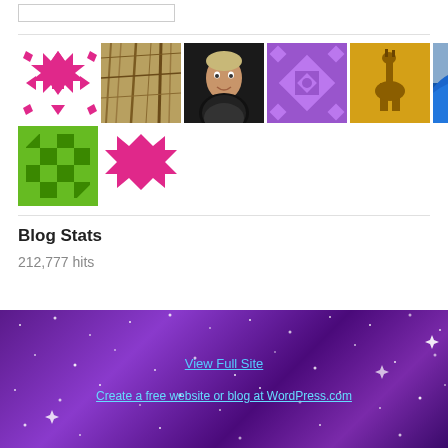[Figure (screenshot): Search input box at top of sidebar]
[Figure (photo): Grid of user avatar images: geometric pink pattern, tree bark texture, man's headshot, purple geometric pattern, giraffe on gold background, ocean wave with surfer, green geometric pattern, person's face, green checkerboard, pink geometric pattern]
Blog Stats
212,777 hits
[Figure (photo): Purple galaxy/space background footer with stars, containing 'View Full Site' link and 'Create a free website or blog at WordPress.com' link]